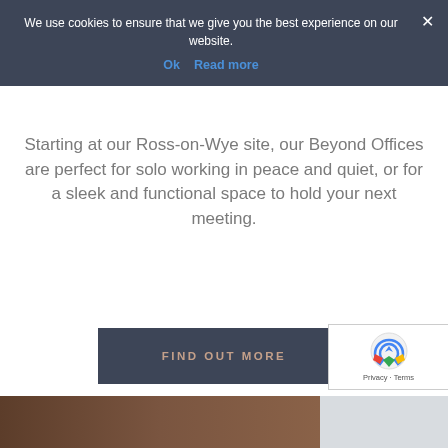We use cookies to ensure that we give you the best experience on our website.
Ok  Read more
Starting at our Ross-on-Wye site, our Beyond Offices are perfect for solo working in peace and quiet, or for a sleek and functional space to hold your next meeting.
FIND OUT MORE
[Figure (photo): Bottom strip showing interior photo on the left and a second smaller photo on the right]
[Figure (other): Google reCAPTCHA badge with reload icon, Privacy and Terms links]